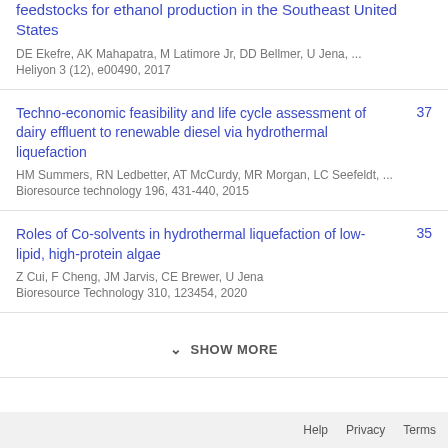feedstocks for ethanol production in the Southeast United States
DE Ekefre, AK Mahapatra, M Latimore Jr, DD Bellmer, U Jena, ...
Heliyon 3 (12), e00490, 2017
Techno-economic feasibility and life cycle assessment of dairy effluent to renewable diesel via hydrothermal liquefaction
HM Summers, RN Ledbetter, AT McCurdy, MR Morgan, LC Seefeldt, ...
Bioresource technology 196, 431-440, 2015
37
Roles of Co-solvents in hydrothermal liquefaction of low-lipid, high-protein algae
Z Cui, F Cheng, JM Jarvis, CE Brewer, U Jena
Bioresource Technology 310, 123454, 2020
35
SHOW MORE
Help   Privacy   Terms